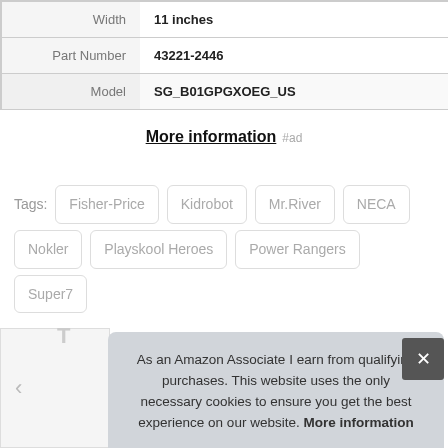|  |  |
| --- | --- |
| Width | 11 inches |
| Part Number | 43221-2446 |
| Model | SG_B01GPGXOEG_US |
More information #ad
Tags: Fisher-Price Kidrobot Mr.River NECA Nokler Playskool Heroes Power Rangers Super7
As an Amazon Associate I earn from qualifying purchases. This website uses the only necessary cookies to ensure you get the best experience on our website. More information